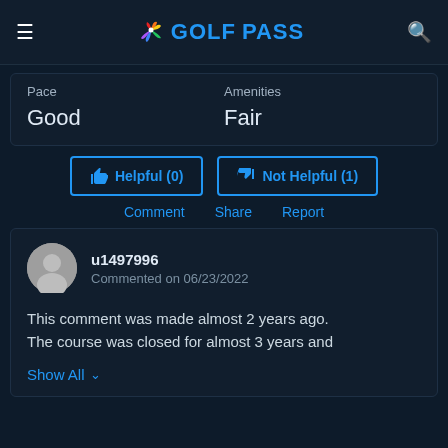GOLFPASS
| Pace | Amenities |
| --- | --- |
| Good | Fair |
Helpful (0)   Not Helpful (1)
Comment   Share   Report
u1497996
Commented on 06/23/2022
This comment was made almost 2 years ago. The course was closed for almost 3 years and
Show All